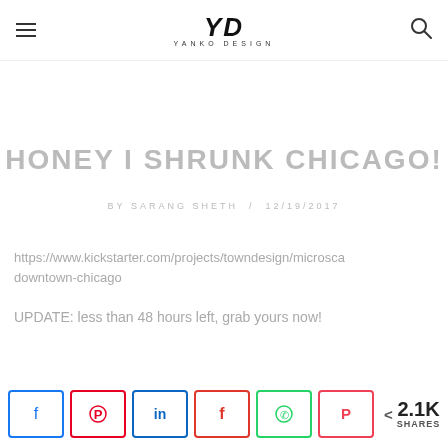YD YANKO DESIGN
HONEY I SHRUNK CHICAGO!
BY SARANG SHETH / 12/19/2017
https://www.kickstarter.com/projects/towndesign/microscadowntown-chicago
UPDATE: less than 48 hours left, grab yours now!
< 2.1K SHARES